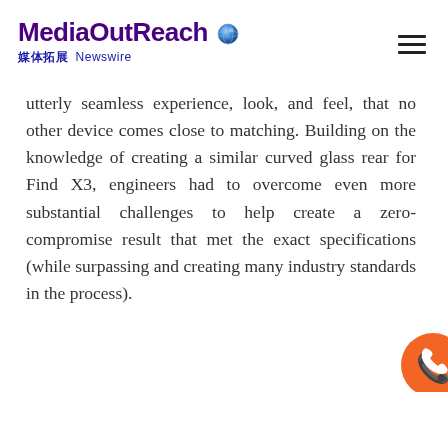MediaOutReach 媒体拓展 Newswire
utterly seamless experience, look, and feel, that no other device comes close to matching. Building on the knowledge of creating a similar curved glass rear for Find X3, engineers had to overcome even more substantial challenges to help create a zero-compromise result that met the exact specifications (while surpassing and creating many industry standards in the process).